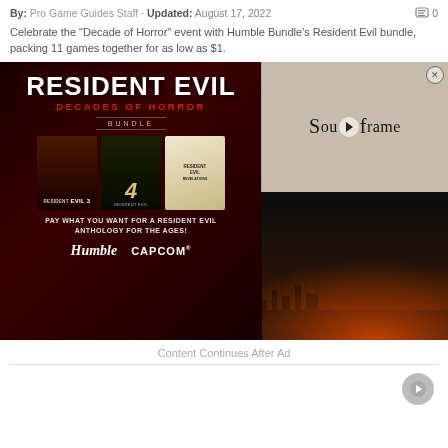By: Pro Game Guides Staff · Updated: August 17, 2022
Celebrate the "Decade of Horror" event with Humble Bundle's Resident Evil bundle, packing 11 games together for as low as $1.
[Figure (screenshot): Resident Evil Decades of Horror Bundle promotional image showing game covers for Resident Evil 3, Resident Evil 4, and Resident Evil Revelations, with Humble and Capcom logos, overlaid with a Soulframe video ad]
Content Continues After Ad